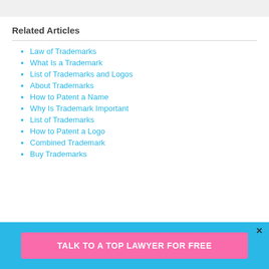Related Articles
Law of Trademarks
What Is a Trademark
List of Trademarks and Logos
About Trademarks
How to Patent a Name
Why Is Trademark Important
List of Trademarks
How to Patent a Logo
Combined Trademark
Buy Trademarks
TALK TO A TOP LAWYER FOR FREE